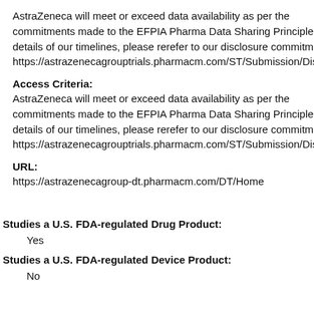AstraZeneca will meet or exceed data availability as per the commitments made to the EFPIA Pharma Data Sharing Principle details of our timelines, please rerefer to our disclosure commitm https://astrazenecagrouptrials.pharmacm.com/ST/Submission/Dis
Access Criteria:
AstraZeneca will meet or exceed data availability as per the commitments made to the EFPIA Pharma Data Sharing Principle details of our timelines, please rerefer to our disclosure commitm https://astrazenecagrouptrials.pharmacm.com/ST/Submission/Dis
URL:
https://astrazenecagroup-dt.pharmacm.com/DT/Home
Studies a U.S. FDA-regulated Drug Product:
Yes
Studies a U.S. FDA-regulated Device Product:
No